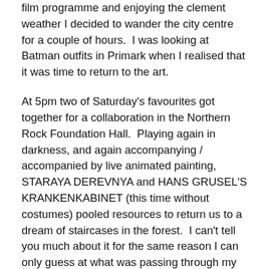film programme and enjoying the clement weather I decided to wander the city centre for a couple of hours.  I was looking at Batman outfits in Primark when I realised that it was time to return to the art.
At 5pm two of Saturday's favourites got together for a collaboration in the Northern Rock Foundation Hall.  Playing again in darkness, and again accompanying / accompanied by live animated painting, STARAYA DEREVNYA and HANS GRUSEL'S KRANKENKABINET (this time without costumes) pooled resources to return us to a dream of staircases in the forest.  I can't tell you much about it for the same reason I can only guess at what was passing through my mind as I fell asleep last night.  However, beforehand people sat behind me were discussing William Hope Hodgson's The House on the Borderland and this performance was a glove-like fit for